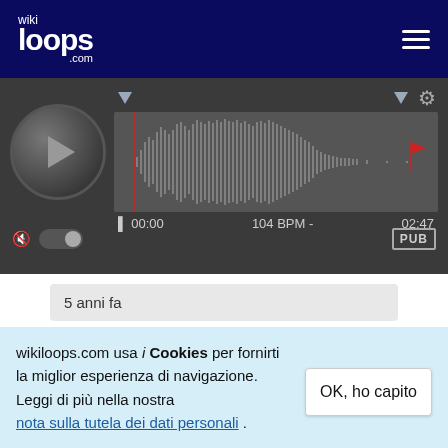[Figure (screenshot): wikiloops.com logo in dark navy header with hamburger menu icon]
[Figure (screenshot): Audio player with waveform, play button, time display showing 00:00 and 02:47, 104 BPM, PUB badge]
5 anni fa
solozolo
wikiloops.com usa i Cookies per fornirti la miglior esperienza di navigazione. Leggi di più nella nostra nota sulla tutela dei dati personali .
OK, ho capito